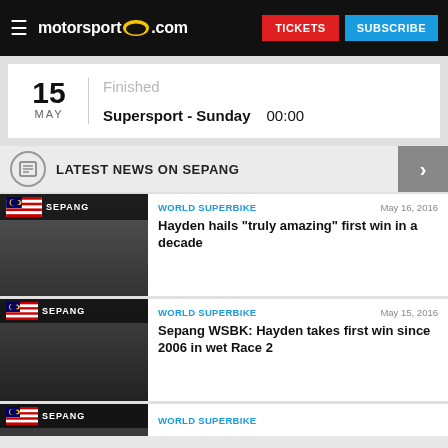motorsport.com | TICKETS | SUBSCRIBE
15 MAY | Finished | Supersport - Sunday | 00:00
LATEST NEWS ON SEPANG
WORLD SUPERBIKE | May 16, 2016 | Hayden hails "truly amazing" first win in a decade
WORLD SUPERBIKE | May 15, 2016 | Sepang WSBK: Hayden takes first win since 2006 in wet Race 2
WORLD SUPERBIKE | May 14, 2016